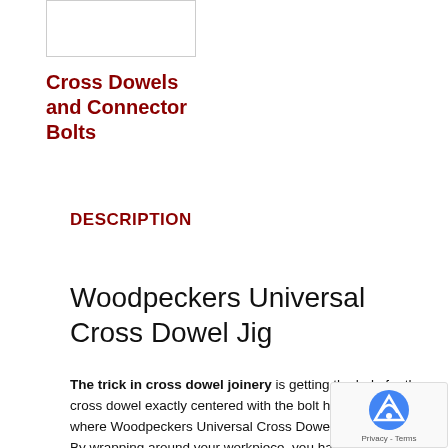[Figure (other): Small product image placeholder (white box with border)]
Cross Dowels and Connector Bolts
DESCRIPTION
Woodpeckers Universal Cross Dowel Jig
The trick in cross dowel joinery is getting the hole for the cross dowel exactly centered with the bolt hole. That's where Woodpeckers Universal Cross Dowel Jig comes in. By wrapping around your workpiece, you have stainless steel guide bushings on the end and the side at the same time, and they're on exactly the same centerline. The end guide